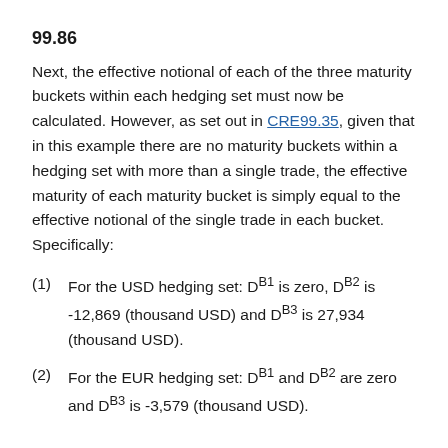99.86
Next, the effective notional of each of the three maturity buckets within each hedging set must now be calculated. However, as set out in CRE99.35, given that in this example there are no maturity buckets within a hedging set with more than a single trade, the effective maturity of each maturity bucket is simply equal to the effective notional of the single trade in each bucket. Specifically:
(1)  For the USD hedging set: D^B1 is zero, D^B2 is -12,869 (thousand USD) and D^B3 is 27,934 (thousand USD).
(2)  For the EUR hedging set: D^B1 and D^B2 are zero and D^B3 is -3,579 (thousand USD).